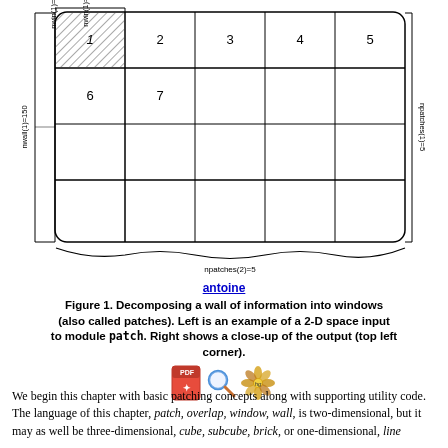[Figure (engineering-diagram): Diagram showing decomposition of a wall of information into patches/windows. Left side shows a large grid labeled with nwall(1)=150, nwin(1)=40, npatches(1)=5, npatches(2)=5. The grid has numbered patches 1-7 visible. Right side shows a close-up of patches 1, 2, 6, 7 with nwin(2)=34, nrow(1)=40, and overlap 5 samples labels.]
antoine
Figure 1. Decomposing a wall of information into windows (also called patches). Left is an example of a 2-D space input to module patch. Right shows a close-up of the output (top left corner).
We begin this chapter with basic patching concepts along with supporting utility code. The language of this chapter, patch, overlap, window, wall, is two-dimensional, but it may as well be three-dimensional, cube, subcube, brick, or one-dimensional, line